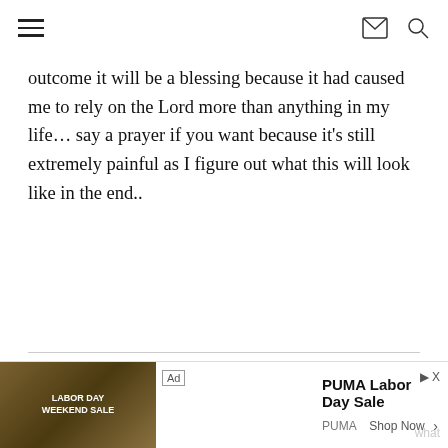[navigation bar with hamburger menu, mail icon, search icon]
outcome it will be a blessing because it had caused me to rely on the Lord more than anything in my life… say a prayer if you want because it's still extremely painful as I figure out what this will look like in the end..
THE HUNGRY RUNNER GIRL  •
JANUARY 30, 2017 AT 8:10 PM  •  REPLY
[Figure (screenshot): Ad banner: PUMA Labor Day Sale with Shop Now button and PUMA branding, jungle background image]